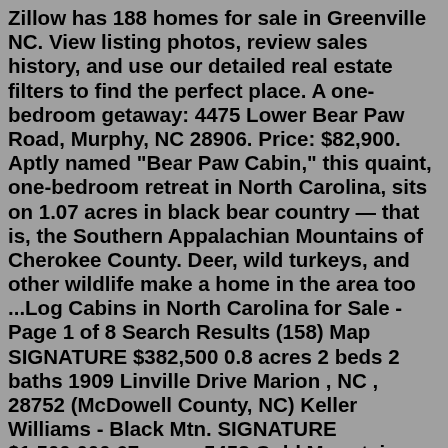Zillow has 188 homes for sale in Greenville NC. View listing photos, review sales history, and use our detailed real estate filters to find the perfect place. A one-bedroom getaway: 4475 Lower Bear Paw Road, Murphy, NC 28906. Price: $82,900. Aptly named "Bear Paw Cabin," this quaint, one-bedroom retreat in North Carolina, sits on 1.07 acres in black bear country — that is, the Southern Appalachian Mountains of Cherokee County. Deer, wild turkeys, and other wildlife make a home in the area too ...Log Cabins in North Carolina for Sale - Page 1 of 8 Search Results (158) Map SIGNATURE $382,500 0.8 acres 2 beds 2 baths 1909 Linville Drive Marion , NC , 28752 (McDowell County, NC) Keller Williams - Black Mtn. SIGNATURE $1,500,000 67 acres 5458 Cold Mountain Road Lake Toxaway , NC , 28747 (Transylvania County, NC) KW Altamont Property Group 1 day ago · Zillow has 188 homes for sale in Greenville NC. View listing photos, review sales history, and use our detailed real estate filters to find the perfect place. All Current Log Homes for Sale in